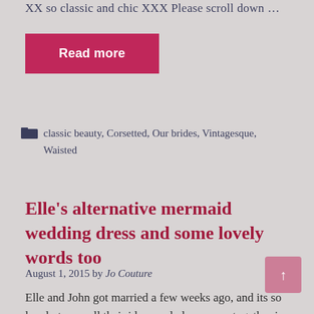XX so classic and chic XXX Please scroll down …
Read more
classic beauty, Corsetted, Our brides, Vintagesque, Waisted
Elle's alternative mermaid wedding dress and some lovely words too
August 1, 2015 by Jo Couture
Elle and John got married a few weeks ago, and its so lovely to see all their ideas and plans come together in these fab photos by our pal Sassy at